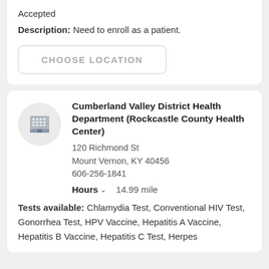Accepted
Description: Need to enroll as a patient.
CHOOSE LOCATION
Cumberland Valley District Health Department (Rockcastle County Health Center)
120 Richmond St
Mount Vernon, KY 40456
606-256-1841
Hours  14.99 mile
Tests available: Chlamydia Test, Conventional HIV Test, Gonorrhea Test, HPV Vaccine, Hepatitis A Vaccine, Hepatitis B Vaccine, Hepatitis C Test, Herpes